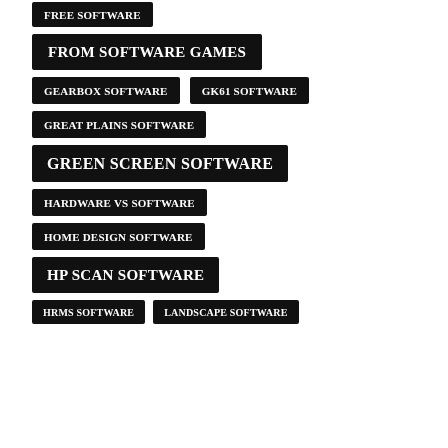FREE SOFTWARE
FROM SOFTWARE GAMES
GEARBOX SOFTWARE
GK61 SOFTWARE
GREAT PLAINS SOFTWARE
GREEN SCREEN SOFTWARE
HARDWARE VS SOFTWARE
HOME DESIGN SOFTWARE
HP SCAN SOFTWARE
HRMS SOFTWARE
LANDSCAPE SOFTWARE